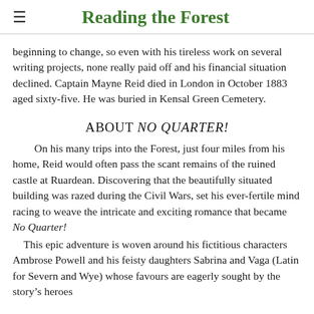Reading the Forest
beginning to change, so even with his tireless work on several writing projects, none really paid off and his financial situation declined. Captain Mayne Reid died in London in October 1883 aged sixty-five. He was buried in Kensal Green Cemetery.
ABOUT NO QUARTER!
On his many trips into the Forest, just four miles from his home, Reid would often pass the scant remains of the ruined castle at Ruardean. Discovering that the beautifully situated building was razed during the Civil Wars, set his ever-fertile mind racing to weave the intricate and exciting romance that became No Quarter!
This epic adventure is woven around his fictitious characters Ambrose Powell and his feisty daughters Sabrina and Vaga (Latin for Severn and Wye) whose favours are eagerly sought by the story's heroes